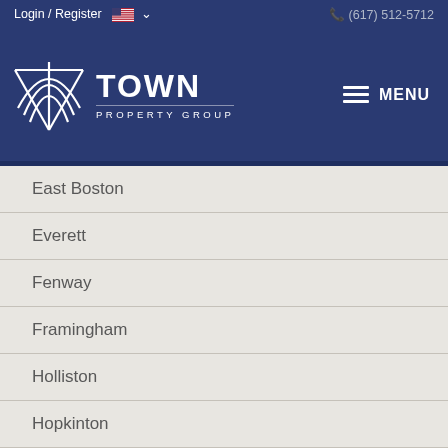Login / Register   (617) 512-5712
[Figure (logo): Town Property Group logo with white stylized building/arch icon and text 'TOWN PROPERTY GROUP' on dark blue background, with hamburger MENU icon on right]
East Boston
Everett
Fenway
Framingham
Holliston
Hopkinton
Hudson
Jamaica Plain